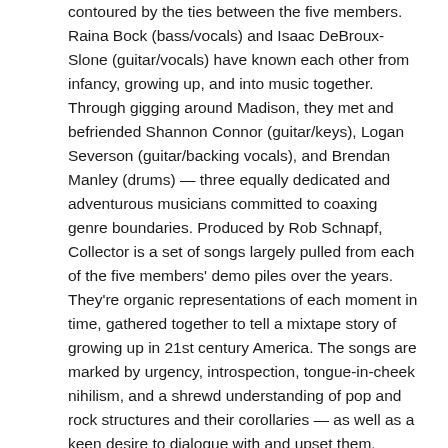contoured by the ties between the five members. Raina Bock (bass/vocals) and Isaac DeBroux-Slone (guitar/vocals) have known each other from infancy, growing up, and into music together. Through gigging around Madison, they met and befriended Shannon Connor (guitar/keys), Logan Severson (guitar/backing vocals), and Brendan Manley (drums) — three equally dedicated and adventurous musicians committed to coaxing genre boundaries. Produced by Rob Schnapf, Collector is a set of songs largely pulled from each of the five members' demo piles over the years. They're organic representations of each moment in time, gathered together to tell a mixtape story of growing up in 21st century America. The songs are marked by urgency, introspection, tongue-in-cheek nihilism, and a shrewd understanding of pop and rock structures and their corollaries — as well as a keen desire to dialogue with and upset them.